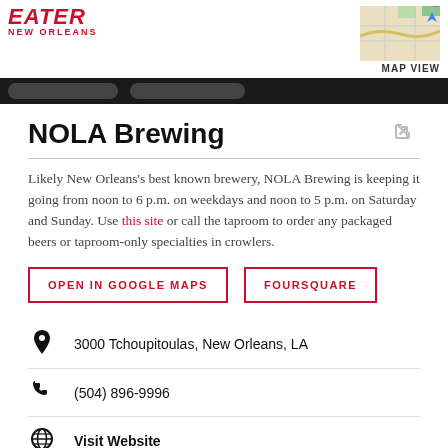EATER NEW ORLEANS
NOLA Brewing
Likely New Orleans's best known brewery, NOLA Brewing is keeping it going from noon to 6 p.m. on weekdays and noon to 5 p.m. on Saturday and Sunday. Use this site or call the taproom to order any packaged beers or taproom-only specialties in crowlers.
OPEN IN GOOGLE MAPS
FOURSQUARE
3000 Tchoupitoulas, New Orleans, LA
(504) 896-9996
Visit Website